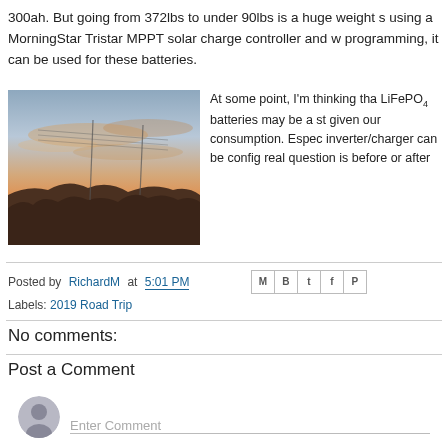300ah. But going from 372lbs to under 90lbs is a huge weight s using a MorningStar Tristar MPPT solar charge controller and w programming, it can be used for these batteries.
[Figure (photo): Outdoor sunset or sunrise photo showing a landscape with colorful sky in orange and pink hues, silhouette of hills/trees in foreground, power lines visible.]
At some point, I'm thinking tha LiFePO4 batteries may be a st given our consumption. Espec inverter/charger can be config real question is before or after
Posted by RichardM at 5:01 PM
Labels: 2019 Road Trip
No comments:
Post a Comment
Enter Comment